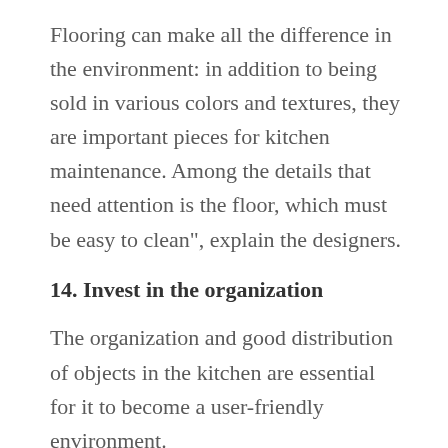Flooring can make all the difference in the environment: in addition to being sold in various colors and textures, they are important pieces for kitchen maintenance. Among the details that need attention is the floor, which must be easy to clean", explain the designers.
14. Invest in the organization
The organization and good distribution of objects in the kitchen are essential for it to become a user-friendly environment.
15. Create a space for quick meals
In the rush of everyday life, it is not always